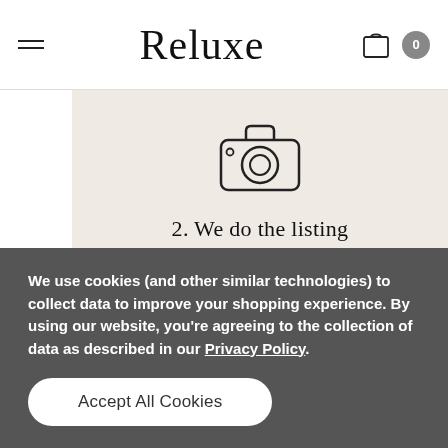Reluxe
[Figure (illustration): Camera icon outline on pink/beige background]
2. We do the listing
Once we have received your items, our expert team will look after the photography, product description, pricing and shipment.
We use cookies (and other similar technologies) to collect data to improve your shopping experience. By using our website, you're agreeing to the collection of data as described in our Privacy Policy.
Accept All Cookies